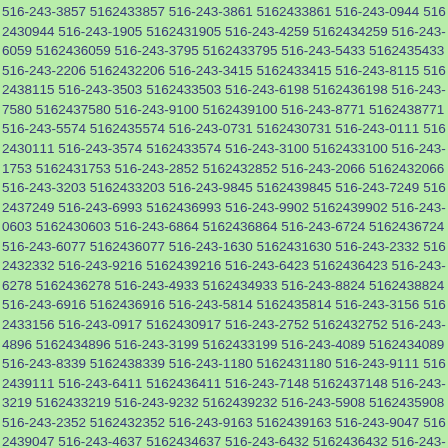516-243-3857 5162433857 516-243-3861 5162433861 516-243-0944 5162430944 516-243-1905 5162431905 516-243-4259 5162434259 516-243-6059 5162436059 516-243-3795 5162433795 516-243-5433 5162435433 516-243-2206 5162432206 516-243-3415 5162433415 516-243-8115 5162438115 516-243-3503 5162433503 516-243-6198 5162436198 516-243-7580 5162437580 516-243-9100 5162439100 516-243-8771 5162438771 516-243-5574 5162435574 516-243-0731 5162430731 516-243-0111 5162430111 516-243-3574 5162433574 516-243-3100 5162433100 516-243-1753 5162431753 516-243-2852 5162432852 516-243-2066 5162432066 516-243-3203 5162433203 516-243-9845 5162439845 516-243-7249 5162437249 516-243-6993 5162436993 516-243-9902 5162439902 516-243-0603 5162430603 516-243-6864 5162436864 516-243-6724 5162436724 516-243-6077 5162436077 516-243-1630 5162431630 516-243-2332 5162432332 516-243-9216 5162439216 516-243-6423 5162436423 516-243-6278 5162436278 516-243-4933 5162434933 516-243-8824 5162438824 516-243-6916 5162436916 516-243-5814 5162435814 516-243-3156 5162433156 516-243-0917 5162430917 516-243-2752 5162432752 516-243-4896 5162434896 516-243-3199 5162433199 516-243-4089 5162434089 516-243-8339 5162438339 516-243-1180 5162431180 516-243-9111 5162439111 516-243-6411 5162436411 516-243-7148 5162437148 516-243-3219 5162433219 516-243-9232 5162439232 516-243-5908 5162435908 516-243-2352 5162432352 516-243-9163 5162439163 516-243-9047 5162439047 516-243-4637 5162434637 516-243-6432 5162436432 516-243-8540 5162438540 516-243-9971 5162439971 516-243-7128 5162437128 516-243-5096 5162435096